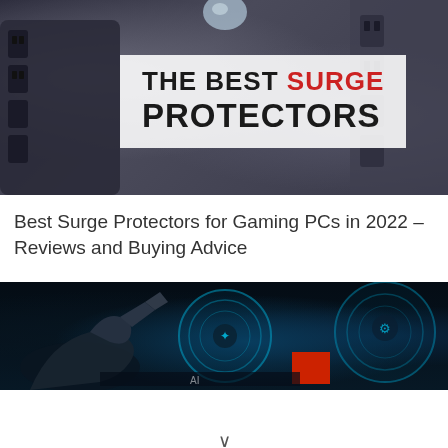[Figure (photo): Photo of multiple surge protector power strips with multiple outlets, overlaid with a white semi-transparent box containing the text 'THE BEST SURGE PROTECTORS' in bold black and red lettering]
Best Surge Protectors for Gaming PCs in 2022 – Reviews and Buying Advice
[Figure (photo): Dark futuristic AI-themed image showing a robotic arm or mechanical hand against a dark background with glowing blue circular neon rings and a red badge element, partially cropped]